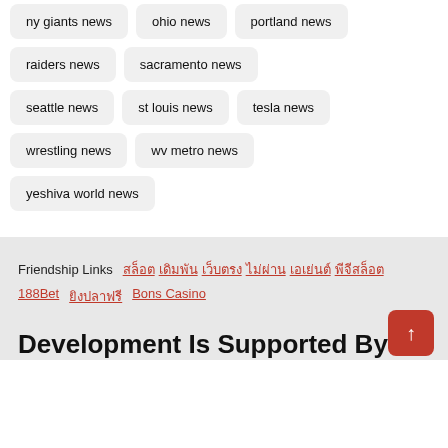ny giants news
ohio news
portland news
raiders news
sacramento news
seattle news
st louis news
tesla news
wrestling news
wv metro news
yeshiva world news
Friendship Links  สล็อต  เดิมพัน  เว็บตรง  ไม่ผ่าน  เอเย่นต์  พีจีสล็อต  188Bet  ยิงปลาฟรี  Bons Casino
Development Is Supported By